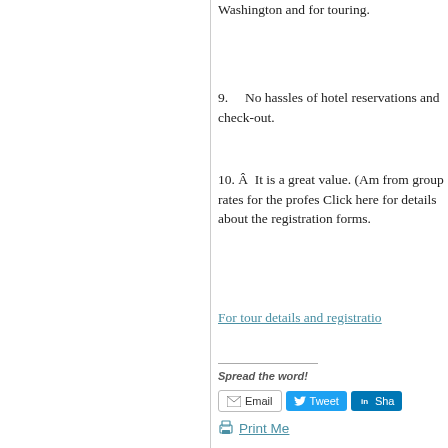Washington and for touring.
9.    No hassles of hotel reservations and check-out.
10. Â  It is a great value. (Amo from group rates for the profes... Click here for details about the registration forms.
For tour details and registration
Spread the word!
Print Me